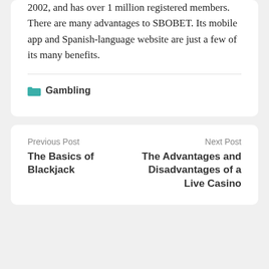2002, and has over 1 million registered members. There are many advantages to SBOBET. Its mobile app and Spanish-language website are just a few of its many benefits.
📁 Gambling
Previous Post
The Basics of Blackjack
Next Post
The Advantages and Disadvantages of a Live Casino